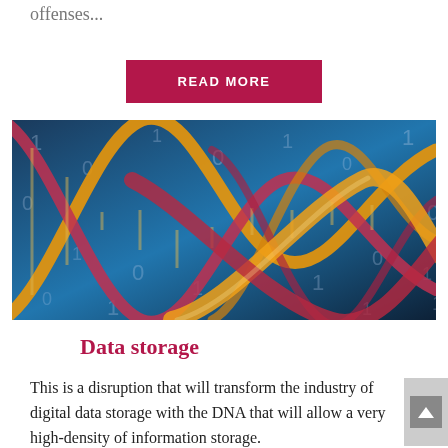offenses...
READ MORE
[Figure (illustration): DNA double helix strands with binary code digits (0s and 1s) overlaid on a blue background, representing digital data storage in DNA]
Data storage
This is a disruption that will transform the industry of digital data storage with the DNA that will allow a very high-density of information storage.